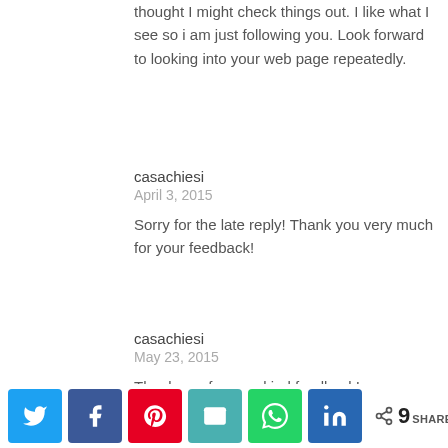thought I might check things out. I like what I see so i am just following you. Look forward to looking into your web page repeatedly.
casachiesi
April 3, 2015
Sorry for the late reply! Thank you very much for your feedback!
casachiesi
May 23, 2015
Thank you for your kind feedback!